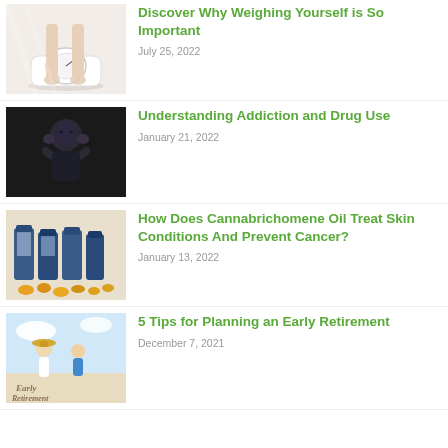[Figure (photo): Person standing on a white bathroom scale, viewed from above]
Discover Why Weighing Yourself is So Important
July 25, 2022
[Figure (photo): Person with dark clothing holding their head in their hands against a dark background]
Understanding Addiction and Drug Use
January 21, 2022
[Figure (photo): Blue supplement/medication bottles and yellow pills/capsules on a surface]
How Does Cannabrichomene Oil Treat Skin Conditions And Prevent Cancer?
January 13, 2022
[Figure (photo): Older woman in a hat and a man outdoors, text Early Retirement written in sand]
5 Tips for Planning an Early Retirement
December 7, 2021